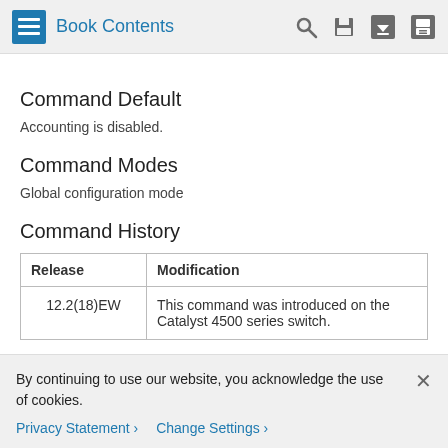Book Contents
Command Default
Accounting is disabled.
Command Modes
Global configuration mode
Command History
| Release | Modification |
| --- | --- |
| 12.2(18)EW | This command was introduced on the Catalyst 4500 series switch. |
By continuing to use our website, you acknowledge the use of cookies.
Privacy Statement > Change Settings >